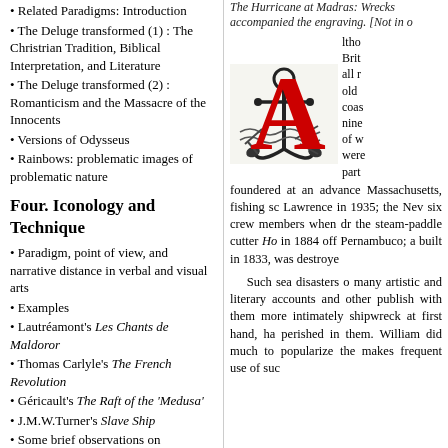Related Paradigms: Introduction
The Deluge transformed (1) : The Christrian Tradition, Biblical Interpretation, and Literature
The Deluge transformed (2) : Romanticism and the Massacre of the Innocents
Versions of Odysseus
Rainbows: problematic images of problematic nature
Four. Iconology and Technique
Paradigm, point of view, and narrative distance in verbal and visual arts
Examples
Lautréamont's Les Chants de Maldoror
Thomas Carlyle's The French Revolution
Géricault's The Raft of the 'Medusa'
J.M.W.Turner's Slave Ship
Some brief observations on paradigms and literary structure
The Lessons of In Memoriam for Students of Imagery and iconology
A brief conclusion on paradigms and literary structure
The Hurricane at Madras: Wrecks accompanied the engraving. [Not in o
[Figure (illustration): A decorative drop cap letter A in red, with a black and white illustration of an anchor and sea wreckage beneath it]
ltho Brit all r old coas nine of w wer part foundered at an advance Massachusetts, fishing sc Lawrence in 1935; the Nev six crew members when dr the steam-paddle cutter Ho in 1884 off Pernambuco; a built in 1833, was destroye
Such sea disasters o many artistic and literary accounts and other publish with them more intimately shipwreck at first hand, ha perished in them. William did much to popularize the makes frequent use of suc